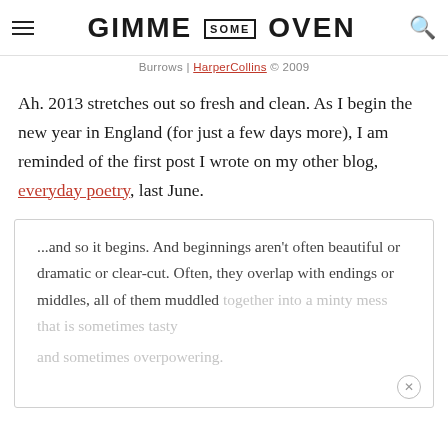GIMME SOME OVEN
Burrows | HarperCollins © 2009
Ah. 2013 stretches out so fresh and clean. As I begin the new year in England (for just a few days more), I am reminded of the first post I wrote on my other blog, everyday poetry, last June.
...and so it begins. And beginnings aren't often beautiful or dramatic or clear-cut. Often, they overlap with endings or middles, all of them muddled together into a minty mess that is sometimes tasty and sometimes overpowering.